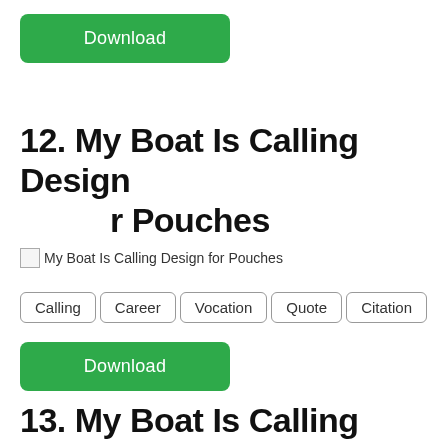[Figure (other): Green download button at top of page]
12. My Boat Is Calling Design for Pouches
[Figure (other): Broken image placeholder for My Boat Is Calling Design for Pouches]
Calling
Career
Vocation
Quote
Citation
[Figure (other): Green download button]
13. My Boat Is Calling Design